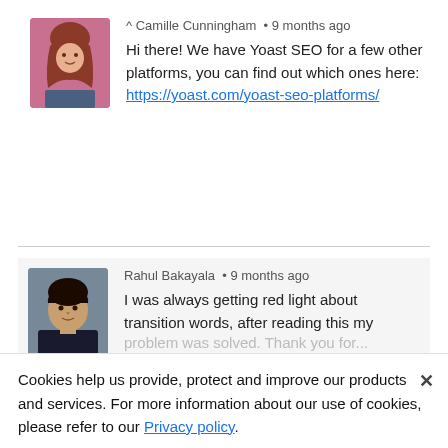^ Camille Cunningham • 9 months ago
Hi there! We have Yoast SEO for a few other platforms, you can find out which ones here: https://yoast.com/yoast-seo-platforms/
Rahul Bakayala • 9 months ago
I was always getting red light about transition words, after reading this my problem was solved. Thank you for...
Cookies help us provide, protect and improve our products and services. For more information about our use of cookies, please refer to our Privacy policy.